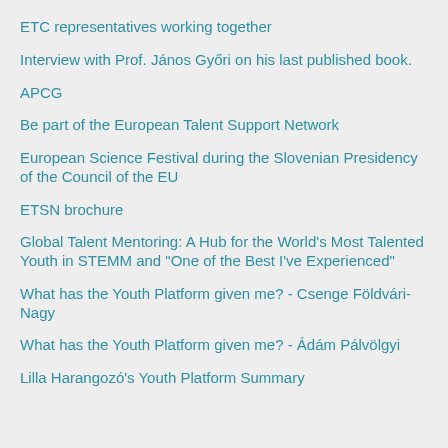ETC representatives working together
Interview with Prof. János Győri on his last published book.
APCG
Be part of the European Talent Support Network
European Science Festival during the Slovenian Presidency of the Council of the EU
ETSN brochure
Global Talent Mentoring: A Hub for the World's Most Talented Youth in STEMM and "One of the Best I've Experienced"
What has the Youth Platform given me? - Csenge Földvári-Nagy
What has the Youth Platform given me? - Ádám Pálvölgyi
Lilla Harangozó's Youth Platform Summary